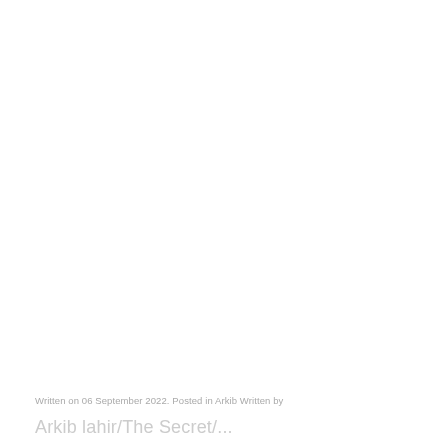Written on 06 September 2022. Posted in Arkib Written by
Arkib lahir/The Secret/...